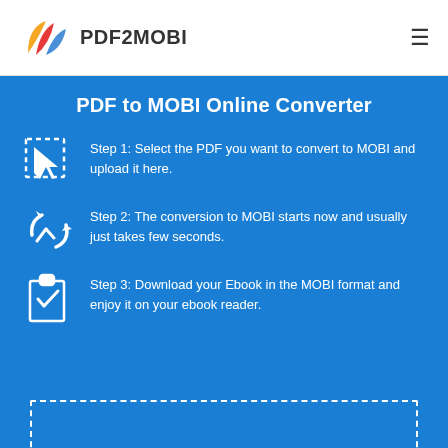[Figure (logo): PDF2MOBI logo with colorful icon (yellow, red, blue shapes) and text PDF2MOBI]
PDF to MOBI Online Converter
Step 1: Select the PDF you want to convert to MOBI and upload it here.
Step 2: The conversion to MOBI starts now and usually just takes few seconds.
Step 3: Download your Ebook in the MOBI format and enjoy it on your ebook reader.
[Figure (other): Dashed border upload box area at the bottom of the blue section]